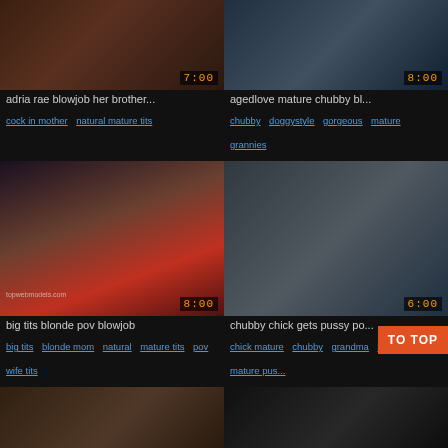[Figure (photo): Video thumbnail 1: adria rae blowjob her brother, duration 7:00]
adria rae blowjob her brother...
cock in mother   natural mature tits
[Figure (photo): Video thumbnail 2: agedlove mature chubby bl..., duration 8:00]
agedlove mature chubby bl...
chubby   doggystyle   gorgeous   mature   grannies
[Figure (photo): Video thumbnail 3: big tits blonde pov blowjob, duration 8:00, watermark topwebmodels.com]
big tits blonde pov blowjob
big tits   blonde mom   natural mature tits   pov   wife tits
[Figure (photo): Video thumbnail 4: chubby chick gets pussy po..., duration 6:00]
chubby chick gets pussy po...
chick mature   chubby   grandma   hot mature   mature pus...
[Figure (photo): Video thumbnail 5: partial view, bottom row left]
[Figure (photo): Video thumbnail 6: partial view, bottom row right]
TO TOP